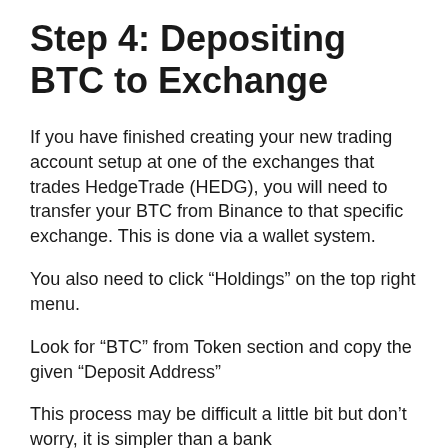Step 4: Depositing BTC to Exchange
If you have finished creating your new trading account setup at one of the exchanges that trades HedgeTrade (HEDG), you will need to transfer your BTC from Binance to that specific exchange. This is done via a wallet system.
You also need to click “Holdings” on the top right menu.
Look for “BTC” from Token section and copy the given “Deposit Address”
This process may be difficult a little bit but don’t worry, it is simpler than a bank